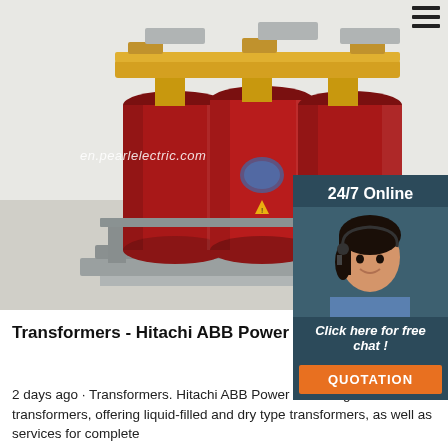[Figure (photo): Industrial dry-type transformer with three red cylindrical coil columns, yellow bus bars on top, mounted on a metal frame. Watermark text: en.pearlelectric.com]
[Figure (photo): Dark teal overlay box with '24/7 Online' heading, photo of woman with headset (customer support), 'Click here for free chat!' italic text, and orange QUOTATION button]
Transformers - Hitachi ABB Power Grids
[Figure (illustration): Orange TOP badge/icon with upward arrow dots]
2 days ago · Transformers. Hitachi ABB Power Grids is global leader in transformers, offering liquid-filled and dry type transformers, as well as services for complete